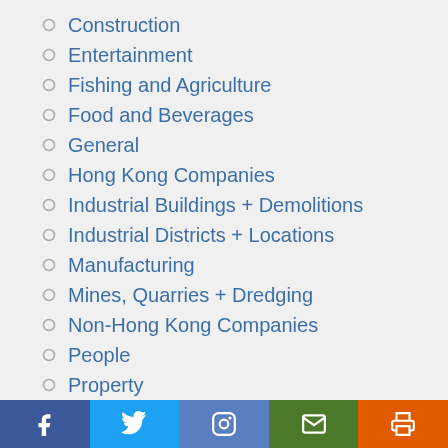Construction
Entertainment
Fishing and Agriculture
Food and Beverages
General
Hong Kong Companies
Industrial Buildings + Demolitions
Industrial Districts + Locations
Manufacturing
Mines, Quarries + Dredging
Non-Hong Kong Companies
People
Property
Real Estate
Retailers
Social media and print icons bar